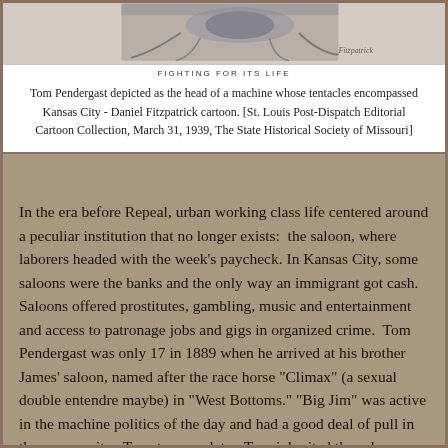[Figure (illustration): Top portion of a Daniel Fitzpatrick editorial cartoon showing Tom Pendergast depicted as the head of a machine with tentacles encompassing Kansas City. Black and white illustration with a signature visible.]
FIGHTING FOR ITS LIFE
Tom Pendergast depicted as the head of a machine whose tentacles encompassed Kansas City - Daniel Fitzpatrick cartoon. [St. Louis Post-Dispatch Editorial Cartoon Collection, March 31, 1939, The State Historical Society of Missouri]
In the era before Repeal, urban working class life centered around a peculiar institution that no longer exists:  the saloon, where laborers headed with the week's paycheck. In Kansas City, some saloons were the banks and the only way an immigrant got cash. Saloons offered prostitutes, gambling, music and entertainment and access to patronage jobs and gigs in organized crime.  Tom Pendergast was only 17 in 1889 when he arrived at his brother James' saloon, named after the race horse "Climax" (a sexual double entendre maybe) in "West Bottoms." "Big Jim" was active in the machine politics of the day and had a good deal of pull in the community.  Twenty years later, Tom inherited the saloon (and a couple of more besides) and the political influence.  Tom found it expedient to open T.J. Pendergast Wholesale Liquor Company. Look at him here in Howard G. Bartling's 1912 "Kansas City in Caricature" (pic below).